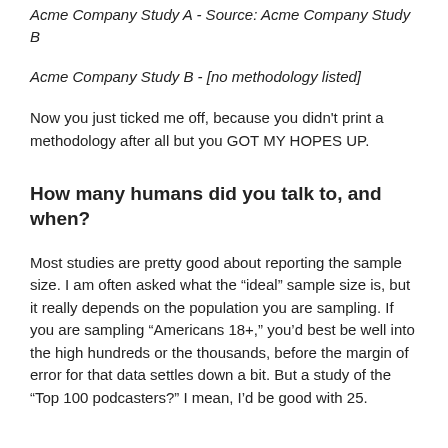Acme Company Study A - Source: Acme Company Study B
Acme Company Study B - [no methodology listed]
Now you just ticked me off, because you didn't print a methodology after all but you GOT MY HOPES UP.
How many humans did you talk to, and when?
Most studies are pretty good about reporting the sample size. I am often asked what the “ideal” sample size is, but it really depends on the population you are sampling. If you are sampling “Americans 18+,” you’d best be well into the high hundreds or the thousands, before the margin of error for that data settles down a bit. But a study of the “Top 100 podcasters?” I mean, I’d be good with 25.